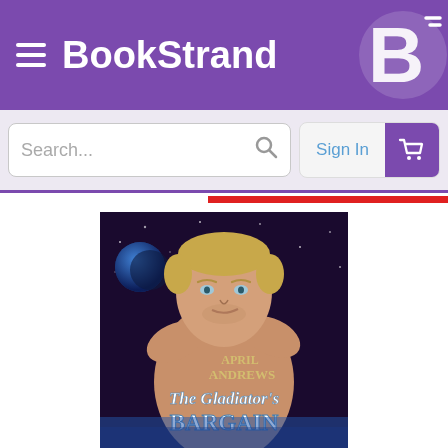BookStrand
[Figure (screenshot): Search bar with placeholder text 'Search...' and a Sign In button with shopping cart icon]
[Figure (photo): Book cover for 'The Gladiator's Bargain' by April Andrews, showing a shirtless muscular man with short blond hair against a dark starry background with a blue moon/planet. The title and author name are displayed on the cover.]